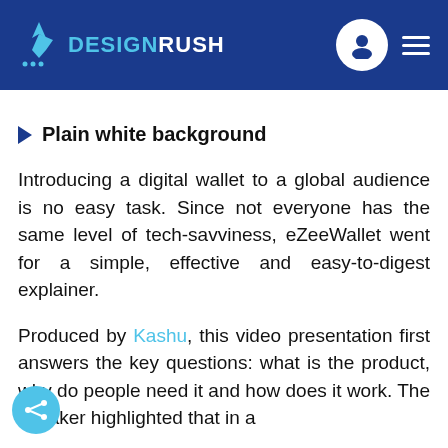DESIGNRUSH
Plain white background
Introducing a digital wallet to a global audience is no easy task. Since not everyone has the same level of tech-savviness, eZeeWallet went for a simple, effective and easy-to-digest explainer.
Produced by Kashu, this video presentation first answers the key questions: what is the product, why do people need it and how does it work. The speaker highlighted that in a